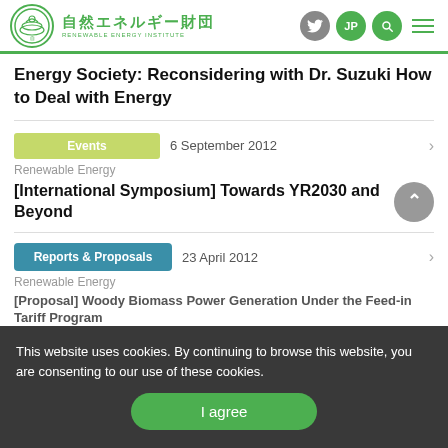自然エネルギー財団 RENEWABLE ENERGY INSTITUTE
Energy Society: Reconsidering with Dr. Suzuki How to Deal with Energy
Events  6 September 2012
Renewable Energy
[International Symposium] Towards YR2030 and Beyond
Reports & Proposals  23 April 2012
Renewable Energy
[Proposal] Woody Biomass Power Generation Under the Feed-in Tariff Program
This website uses cookies. By continuing to browse this website, you are consenting to our use of these cookies.
I agree